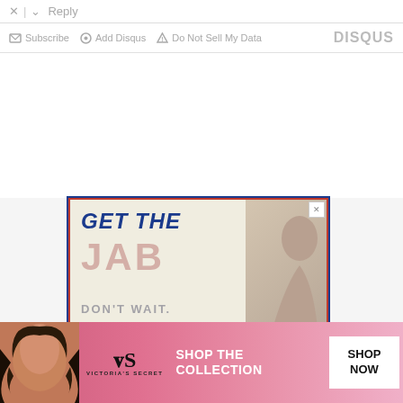Reply
Subscribe  Add Disqus  Do Not Sell My Data  DISQUS
[Figure (screenshot): Advertisement banner: 'GET THE JAB ... DON'T WAIT.' with red and blue styling]
[Figure (screenshot): Victoria's Secret advertisement: 'SHOP THE COLLECTION SHOP NOW']